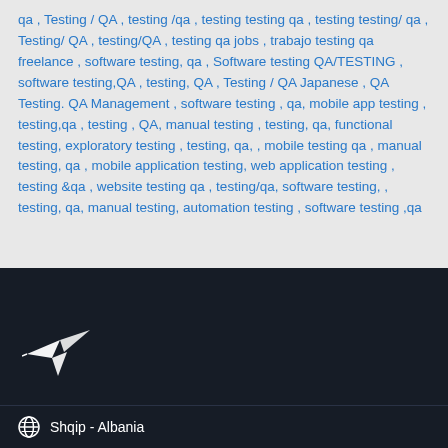qa , Testing / QA , testing /qa , testing testing qa , testing testing/ qa , Testing/ QA , testing/QA , testing qa jobs , trabajo testing qa freelance , software testing, qa , Software testing QA/TESTING , software testing,QA , testing, QA , Testing / QA Japanese , QA Testing. QA Management , software testing , qa, mobile app testing , testing,qa , testing , QA, manual testing , testing, qa, functional testing, exploratory testing , testing, qa, , mobile testing qa , manual testing, qa , mobile application testing, web application testing , testing &qa , website testing qa , testing/qa, software testing, , testing, qa, manual testing, automation testing , software testing ,qa
[Figure (logo): White hummingbird/bird logo on dark background]
Shqip - Albania